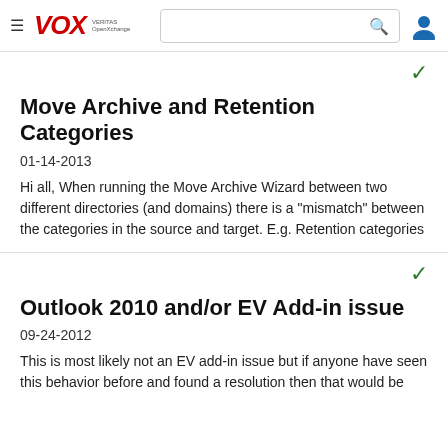VOX — VERITAS OpenExchange header with search bar and user icon
Move Archive and Retention Categories
01-14-2013
Hi all, When running the Move Archive Wizard between two different directories (and domains) there is a "mismatch" between the categories in the source and target. E.g. Retention categories
Outlook 2010 and/or EV Add-in issue
09-24-2012
This is most likely not an EV add-in issue but if anyone have seen this behavior before and found a resolution then that would be